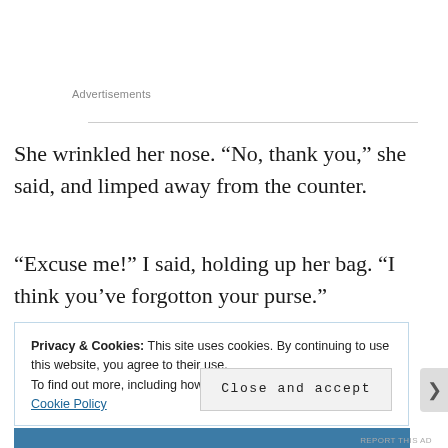Advertisements
She wrinkled her nose. “No, thank you,” she said, and limped away from the counter.
“Excuse me!” I said, holding up her bag. “I think you’ve forgotton your purse.”
Privacy & Cookies: This site uses cookies. By continuing to use this website, you agree to their use.
To find out more, including how to control cookies, see here: Cookie Policy
Close and accept